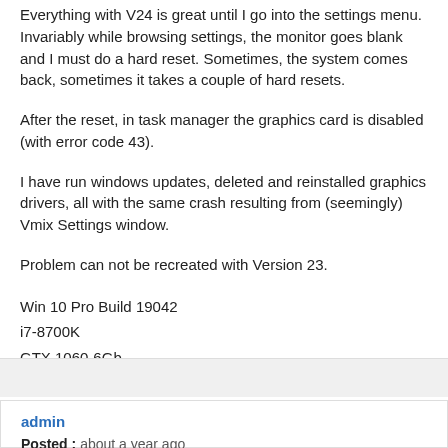Everything with V24 is great until I go into the settings menu. Invariably while browsing settings, the monitor goes blank and I must do a hard reset. Sometimes, the system comes back, sometimes it takes a couple of hard resets.
After the reset, in task manager the graphics card is disabled (with error code 43).
I have run windows updates, deleted and reinstalled graphics drivers, all with the same crash resulting from (seemingly) Vmix Settings window.
Problem can not be recreated with Version 23.
Win 10 Pro Build 19042
i7-8700K
GTX 1060-6Gb
64Gb RAM
*EDIT* It should also be noted that I was attempting to use a Vmix Preset from V23. Am currently rebuilding the show from scratch in V24 to test.
admin
Posted : about a year ago